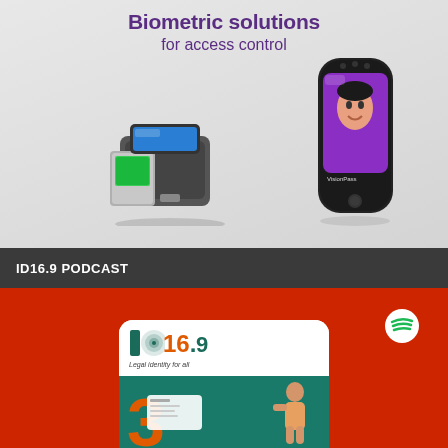[Figure (illustration): Advertisement banner for biometric solutions for access control. Light gray background showing two biometric devices: a fingerprint scanner (tabletop device with green scanning surface) and a facial recognition device (handheld with purple face recognition screen showing a woman's face, labeled VisionPass). Text reads 'Biometric solutions for access control' in purple.]
ID16.9 PODCAST
[Figure (illustration): ID16.9 Podcast promotional panel on red/orange background with Spotify logo icon in top right. Center shows a white rounded card with ID16.9 logo (green and orange) with tagline 'Legal identity for all', below is a teal section showing a large orange number and a cartoon person figure with a document/card.]